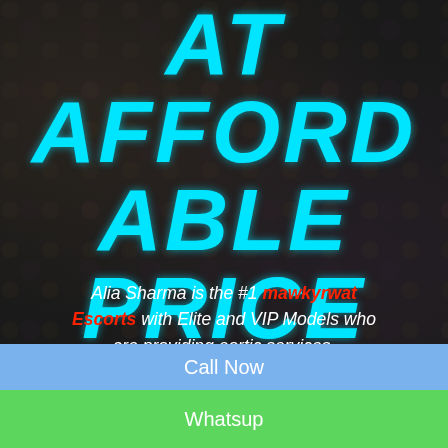AT AFFORDABLE PRICE RATE
Alia Sharma is the #1 mawkyrwat Escorts with Elite and VIP Models who are providing eortic services.
[Figure (infographic): Book Now banner with red button and arrows, showing a woman in white]
Call Now
Whatsup